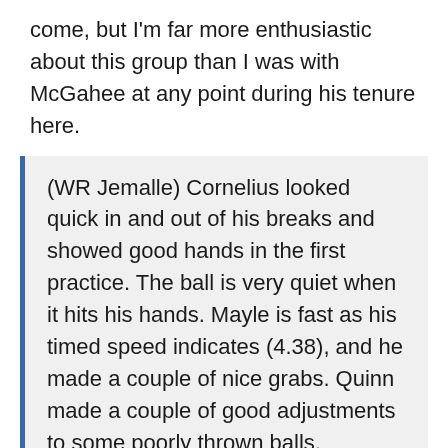come, but I'm far more enthusiastic about this group than I was with McGahee at any point during his tenure here.
(WR Jemalle) Cornelius looked quick in and out of his breaks and showed good hands in the first practice. The ball is very quiet when it hits his hands. Mayle is fast as his timed speed indicates (4.38), and he made a couple of nice grabs. Quinn made a couple of good adjustments to some poorly thrown balls.
Of all the UDFA's the Bills brought in, this guy Cornelius, in my mind, has the best shot at cracking the roster. He played on a championship team at Florida, he's a smooth athlete and while he doesn't have the best numbers you'd look for in terms of